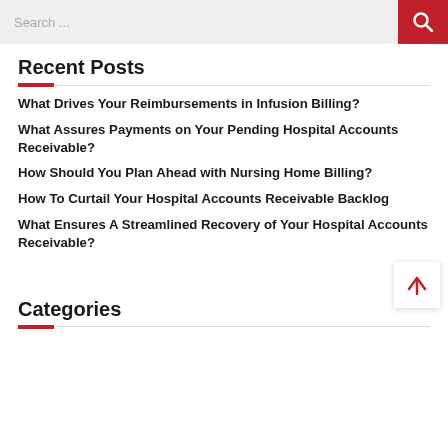Search ...
Recent Posts
What Drives Your Reimbursements in Infusion Billing?
What Assures Payments on Your Pending Hospital Accounts Receivable?
How Should You Plan Ahead with Nursing Home Billing?
How To Curtail Your Hospital Accounts Receivable Backlog
What Ensures A Streamlined Recovery of Your Hospital Accounts Receivable?
Categories